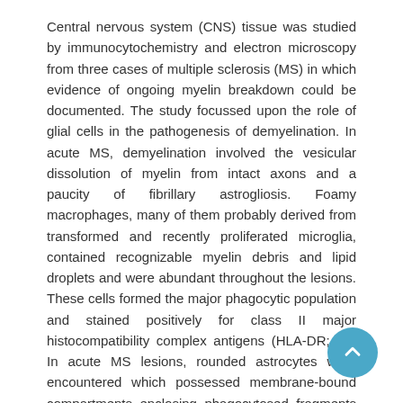Central nervous system (CNS) tissue was studied by immunocytochemistry and electron microscopy from three cases of multiple sclerosis (MS) in which evidence of ongoing myelin breakdown could be documented. The study focussed upon the role of glial cells in the pathogenesis of demyelination. In acute MS, demyelination involved the vesicular dissolution of myelin from intact axons and a paucity of fibrillary astrogliosis. Foamy macrophages, many of them probably derived from transformed and recently proliferated microglia, contained recognizable myelin debris and lipid droplets and were abundant throughout the lesions. These cells formed the major phagocytic population and stained positively for class II major histocompatibility complex antigens (HLA-DR; Ia). In acute MS lesions, rounded astrocytes were encountered which possessed membrane-bound compartments enclosing phagocytosed fragments of myelin basic protein-positive debris. Despite the superficial resemblance of these cells to foamy macrophages, the presence of intermediate filaments, glycogen granules and diffuse glial fibrillary acidic protein positivity supported an astroglial identity. Astrocyte processes were involved in myelin removal and invested recently demyelinated axons. Hypertrophic fibrous astrocytes were common in chronic active lesions, were capable